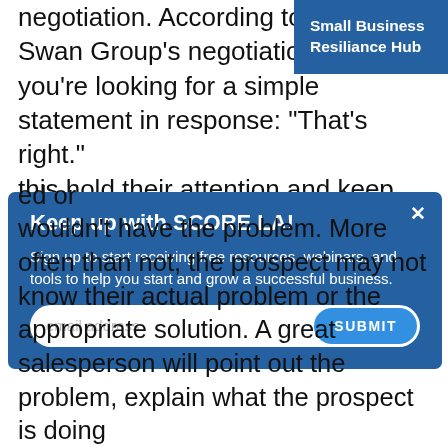negotiation. According to the Black Swan Group's negotiation training, you're looking for a simple statement in response: "That's right." this hold their attention and keep them communicating with you, but it also encourages a sense of mutual respect and reciprocity, which
[Figure (screenshot): Blue banner in upper right corner reading 'Small Business Resiliance Hub' in white bold text]
[Figure (screenshot): Modal popup with blue background. Title: 'Keep up with SCORE LA!' Body text: 'Sign up to start receiving free resources, webinars, and tools to help you start and grow a successful business.' Email input field with 'email address' placeholder and a 'SUBMIT' button. X close button in top right.]
ed or wouldn't have the problem. More often than not, the prospect may not know their actual problem or the appropriate solution. A great salesperson will point out the problem, explain what the prospect is doing